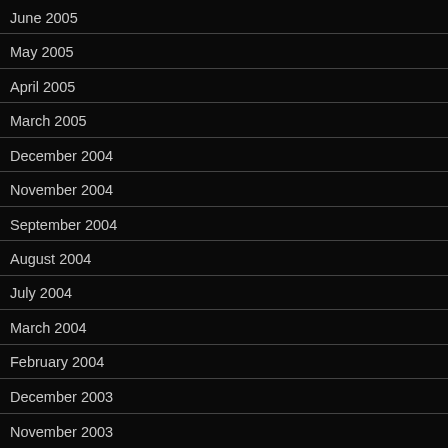June 2005
May 2005
April 2005
March 2005
December 2004
November 2004
September 2004
August 2004
July 2004
March 2004
February 2004
December 2003
November 2003